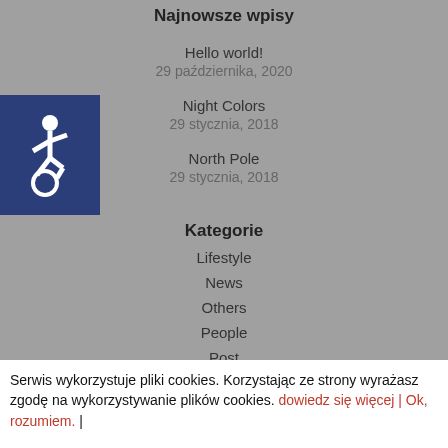Najnowsze wpisy
Hello world!
29 października, 2020
Night Colors
29 stycznia, 2018
North Pole
29 stycznia, 2018
[Figure (illustration): Accessibility icon (wheelchair symbol) on dark blue background]
Kategorie
Lifestyle
News
Others
People
Post
Uncategorized
Serwis wykorzystuje pliki cookies. Korzystając ze strony wyrażasz zgodę na wykorzystywanie plików cookies. dowiedz się więcej | Ok, rozumiem. |